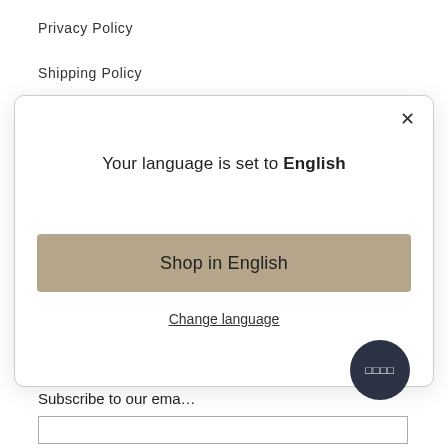Privacy Policy
Shipping Policy
Return Policy
[Figure (screenshot): Modal dialog with language selection. Title: 'Your language is set to English'. Button: 'Shop in English'. Link: 'Change language'. Close button (×) in top right corner.]
support@balinista.com
Subscribe to our ema…